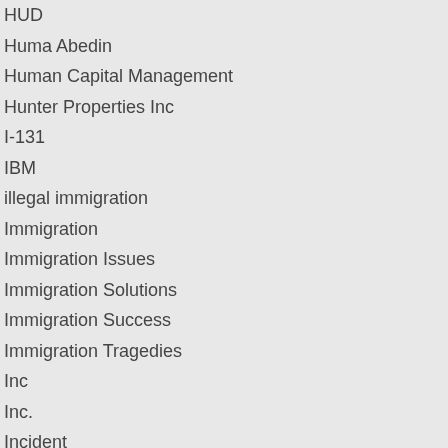HUD
Huma Abedin
Human Capital Management
Hunter Properties Inc
I-131
IBM
illegal immigration
Immigration
Immigration Issues
Immigration Solutions
Immigration Success
Immigration Tragedies
Inc
Inc.
Incident
Incident Maps